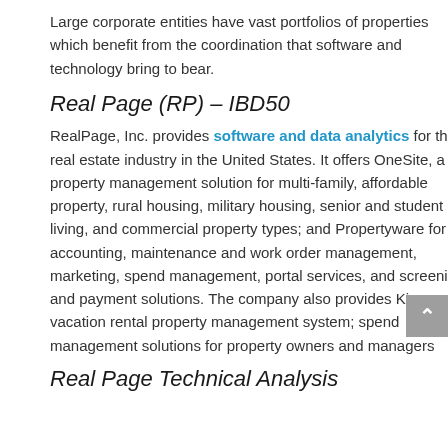Large corporate entities have vast portfolios of properties which benefit from the coordination that software and technology bring to bear.
Real Page (RP) – IBD50
RealPage, Inc. provides software and data analytics for the real estate industry in the United States. It offers OneSite, a property management solution for multi-family, affordable property, rural housing, military housing, senior and student living, and commercial property types; and Propertyware for accounting, maintenance and work order management, marketing, spend management, portal services, and screening and payment solutions. The company also provides Kigo, a vacation rental property management system; spend management solutions for property owners and managers
Real Page Technical Analysis